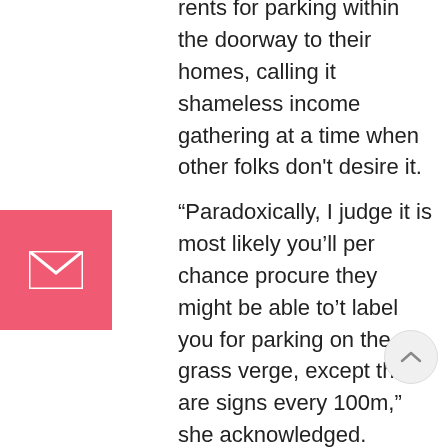rents for parking within the doorway to their homes, calling it shameless income gathering at a time when other folks don't desire it.
[Figure (infographic): Pink/red square button with white email envelope icon]
“Paradoxically, I judge it is most likely you’ll per chance procure they might be able to’t label you for parking on the grass verge, except there are signs every 100m,” she acknowledged.
One other girl acknowledged she asked about parking her automobile on the crossing when permits first came in and “used to be urged as lengthy as I wasn’t blockading the footpath it used to be okay … sounds bask in they are altering their stance”.
The parking solutions apply whether or no longer a automobile is obstructing the